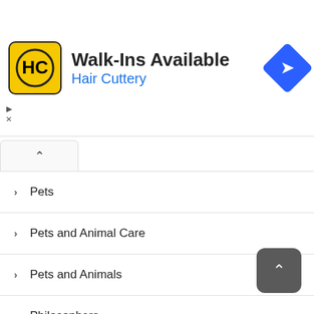[Figure (infographic): Hair Cuttery advertisement banner with yellow logo, 'Walk-Ins Available' title, blue subtitle 'Hair Cuttery', and blue diamond navigation icon]
Pets
Pets and Animal Care
Pets and Animals
Philosophers
Philosophy
Philosophy and Social Aspects
Phones
Photo Essays